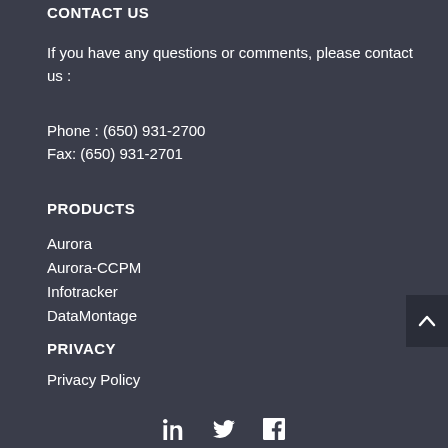CONTACT US
If you have any questions or comments, please contact us :
Phone : (650) 931-2700
Fax: (650) 931-2701
PRODUCTS
Aurora
Aurora-CCPM
Infotracker
DataMontage
PRIVACY
Privacy Policy
[Figure (infographic): Social media icons: LinkedIn, Twitter, Facebook]